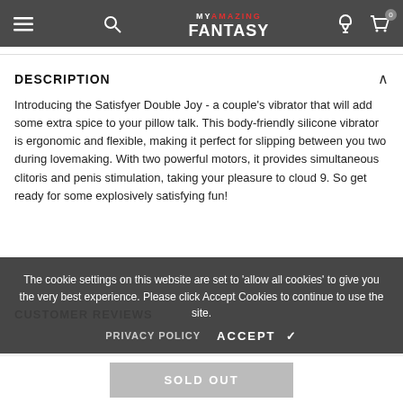MY AMAZING FANTASY
DESCRIPTION
Introducing the Satisfyer Double Joy - a couple's vibrator that will add some extra spice to your pillow talk. This body-friendly silicone vibrator is ergonomic and flexible, making it perfect for slipping between you two during lovemaking. With two powerful motors, it provides simultaneous clitoris and penis stimulation, taking your pleasure to cloud 9. So get ready for some explosively satisfying fun!
The cookie settings on this website are set to 'allow all cookies' to give you the very best experience. Please click Accept Cookies to continue to use the site.
PRIVACY POLICY   ACCEPT ✓
CUSTOMER REVIEWS
SOLD OUT